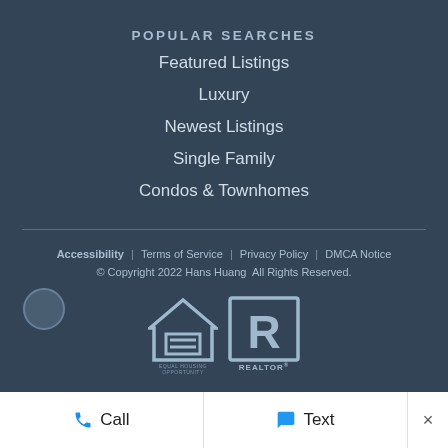POPULAR SEARCHES
Featured Listings
Luxury
Newest Listings
Single Family
Condos & Townhomes
Accessibility | Terms of Service | Privacy Policy | DMCA Notice
© Copyright 2022 Hans Huang  All Rights Reserved.
[Figure (logo): Equal Housing Opportunity logo and REALTOR logo side by side]
Call   Text   ×